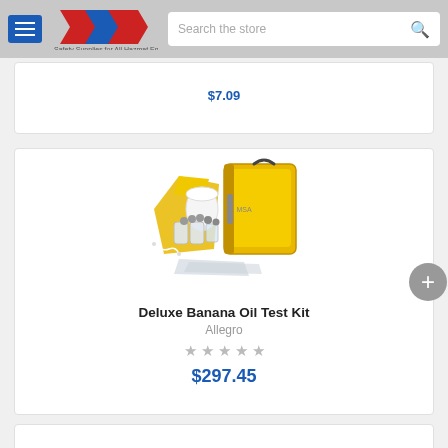MSA Safety Supplies store navigation with logo and search bar
$7.09
[Figure (photo): Deluxe Banana Oil Test Kit product photo showing a yellow carrying case, containers with chemicals, gloves, and test materials arranged together]
Deluxe Banana Oil Test Kit
Allegro
★ ★ ★ ★ ★
$297.45